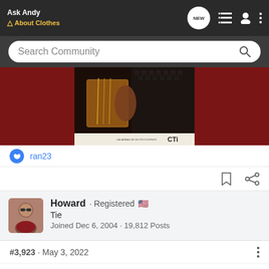Ask Andy About Clothes
Search Community
[Figure (photo): A musician playing guitar with a dark/warm tone album cover image, with CTI label visible. Dark red background flanking center white album cover.]
ran23
Howard · Registered
Tie
Joined Dec 6, 2004 · 19,812 Posts
#3,923 · May 3, 2022
Top Favorite Re...